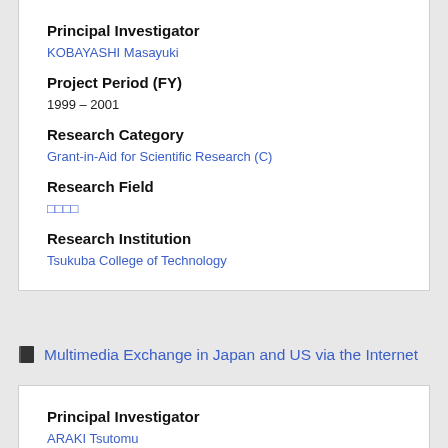Principal Investigator
KOBAYASHI Masayuki
Project Period (FY)
1999 – 2001
Research Category
Grant-in-Aid for Scientific Research (C)
Research Field
□□□□
Research Institution
Tsukuba College of Technology
Multimedia Exchange in Japan and US via the Internet
Principal Investigator
ARAKI Tsutomu